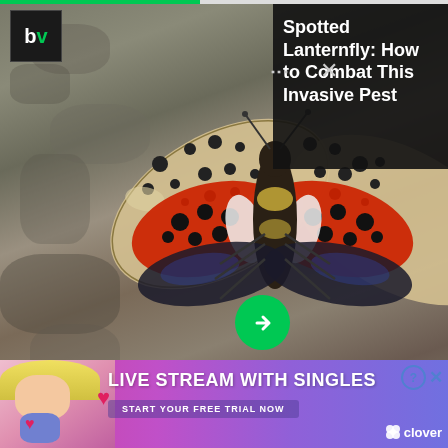[Figure (photo): Screenshot of a web article featuring a photo of a Spotted Lanternfly insect on a stone surface with red and spotted wings, overlaid with a dark sidebar showing article title 'Spotted Lanternfly: How to Combat This Invasive Pest', a BV logo in top left, navigation dots and X close icons, and a green arrow button]
istockphoto.com
Upgrade builder-grade interior walls with wainscoting to add classic style and a touch of elegance. Wainscoting, which measures 32 inches high, is available in preformed beadboard and ornate panel designs. The materials to build your own will run $7
[Figure (photo): Advertisement banner: 'LIVE STREAM WITH SINGLES' with 'START YOUR FREE TRIAL NOW' button and Clover logo, pink to purple gradient background with a blonde woman on the left]